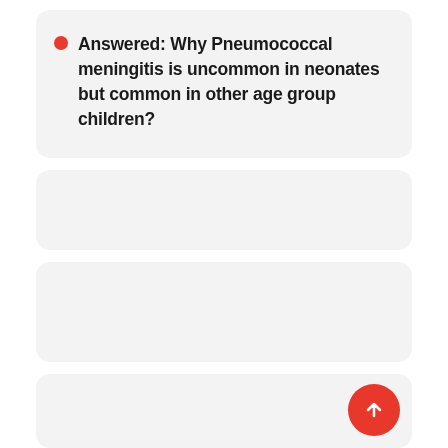Answered: Why Pneumococcal meningitis is uncommon in neonates but common in other age group children?